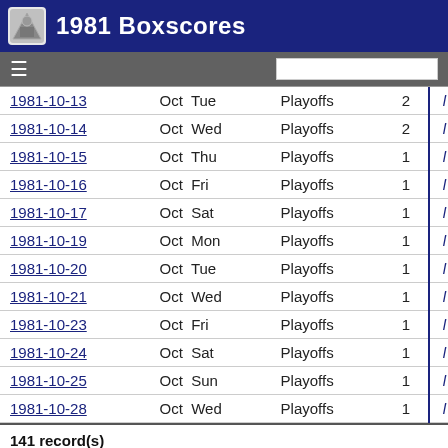1981 Boxscores
| Date | Month Day | Type | Count |  |
| --- | --- | --- | --- | --- |
| 1981-10-13 | Oct Tue | Playoffs | 2 | l |
| 1981-10-14 | Oct Wed | Playoffs | 2 | l |
| 1981-10-15 | Oct Thu | Playoffs | 1 | l |
| 1981-10-16 | Oct Fri | Playoffs | 1 | l |
| 1981-10-17 | Oct Sat | Playoffs | 1 | l |
| 1981-10-19 | Oct Mon | Playoffs | 1 | l |
| 1981-10-20 | Oct Tue | Playoffs | 1 | l |
| 1981-10-21 | Oct Wed | Playoffs | 1 | l |
| 1981-10-23 | Oct Fri | Playoffs | 1 | l |
| 1981-10-24 | Oct Sat | Playoffs | 1 | l |
| 1981-10-25 | Oct Sun | Playoffs | 1 | l |
| 1981-10-28 | Oct Wed | Playoffs | 1 | l |
141 record(s)